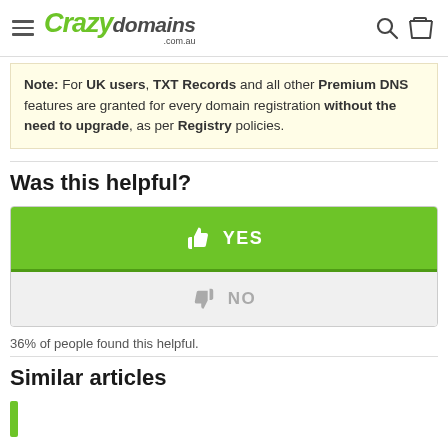Crazy domains .com.au
Note: For UK users, TXT Records and all other Premium DNS features are granted for every domain registration without the need to upgrade, as per Registry policies.
Was this helpful?
[Figure (other): Feedback buttons: YES (green, thumbs up) and NO (grey, thumbs down)]
36% of people found this helpful.
Similar articles